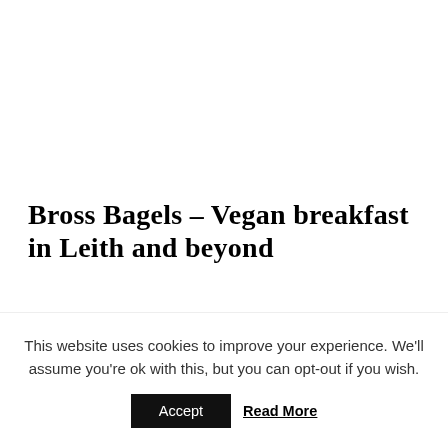Bross Bagels – Vegan breakfast in Leith and beyond
Not the largest if you're looking for a big vegan breakfast/brunch, but ideal for a filling start to the day
This website uses cookies to improve your experience. We'll assume you're ok with this, but you can opt-out if you wish.